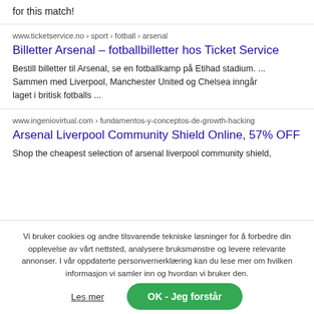for this match!
www.ticketservice.no › sport › fotball › arsenal
Billetter Arsenal – fotballbilletter hos Ticket Service
Bestill billetter til Arsenal, se en fotballkamp på Etihad stadium. ... Sammen med Liverpool, Manchester United og Chelsea inngår laget i britisk fotballs ...
www.ingeniovirtual.com › fundamentos-y-conceptos-de-growth-hacking
Arsenal Liverpool Community Shield Online, 57% OFF
Shop the cheapest selection of arsenal liverpool community shield,
Vi bruker cookies og andre tilsvarende tekniske løsninger for å forbedre din opplevelse av vårt nettsted, analysere bruksmønstre og levere relevante annonser. I vår oppdaterte personvernerklæring kan du lese mer om hvilken informasjon vi samler inn og hvordan vi bruker den.
Les mer
OK - Jeg forstår